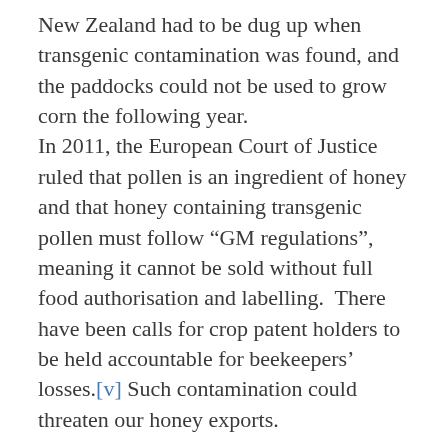New Zealand had to be dug up when transgenic contamination was found, and the paddocks could not be used to grow corn the following year.
In 2011, the European Court of Justice ruled that pollen is an ingredient of honey and that honey containing transgenic pollen must follow “GM regulations”, meaning it cannot be sold without full food authorisation and labelling.  There have been calls for crop patent holders to be held accountable for beekeepers’ losses.[v] Such contamination could threaten our honey exports.